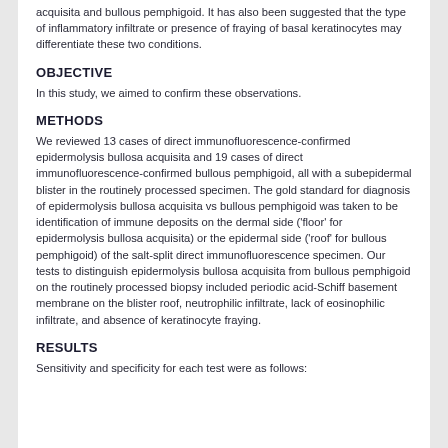acquisita and bullous pemphigoid. It has also been suggested that the type of inflammatory infiltrate or presence of fraying of basal keratinocytes may differentiate these two conditions.
OBJECTIVE
In this study, we aimed to confirm these observations.
METHODS
We reviewed 13 cases of direct immunofluorescence-confirmed epidermolysis bullosa acquisita and 19 cases of direct immunofluorescence-confirmed bullous pemphigoid, all with a subepidermal blister in the routinely processed specimen. The gold standard for diagnosis of epidermolysis bullosa acquisita vs bullous pemphigoid was taken to be identification of immune deposits on the dermal side ('floor' for epidermolysis bullosa acquisita) or the epidermal side ('roof' for bullous pemphigoid) of the salt-split direct immunofluorescence specimen. Our tests to distinguish epidermolysis bullosa acquisita from bullous pemphigoid on the routinely processed biopsy included periodic acid-Schiff basement membrane on the blister roof, neutrophilic infiltrate, lack of eosinophilic infiltrate, and absence of keratinocyte fraying.
RESULTS
Sensitivity and specificity for each test were as follows: